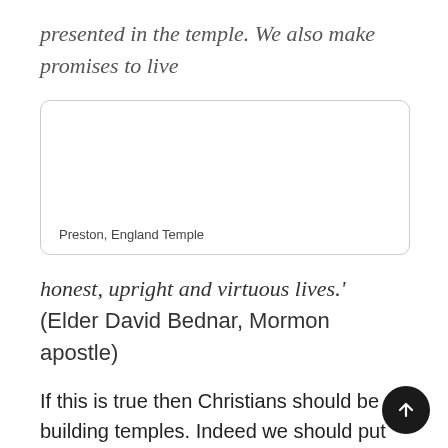presented in the temple. We also make promises to live
[Figure (photo): Photo of Preston, England Temple — a white building with a spire. Caption reads: Preston, England Temple]
Preston, England Temple
honest, upright and virtuous lives.' (Elder David Bednar, Mormon apostle)
If this is true then Christians should be building temples. Indeed we should put down whatever we are doing and make every effort to become a worthy temple Mormon – no mean feat I assure you. The temple is at the centre